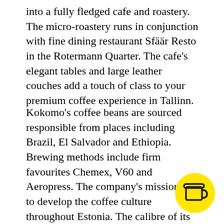into a fully fledged cafe and roastery. The micro-roastery runs in conjunction with fine dining restaurant Sfäär Resto in the Rotermann Quarter. The cafe's elegant tables and large leather couches add a touch of class to your premium coffee experience in Tallinn.
Kokomo's coffee beans are sourced responsible from places including Brazil, El Salvador and Ethiopia. Brewing methods include firm favourites Chemex, V60 and Aeropress. The company's mission is to develop the coffee culture throughout Estonia. The calibre of its roasts has been highly regarded with Kokomo now supplying beans to several cafes across Tallinn. The cute postage stamp designs on their sleek black packaging has made Kokomo a recognised coffee brand around the city.
[Figure (illustration): Yellow circle with a coffee cup icon in the bottom-right corner of the page]